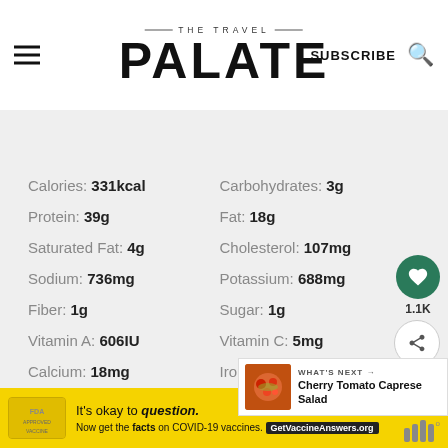THE TRAVEL PALATE — SUBSCRIBE
NUTRITION
| Nutrient | Value | Nutrient | Value |
| --- | --- | --- | --- |
| Calories: | 331kcal | Carbohydrates: | 3g |
| Protein: | 39g | Fat: | 18g |
| Saturated Fat: | 4g | Cholesterol: | 107mg |
| Sodium: | 736mg | Potassium: | 688mg |
| Fiber: | 1g | Sugar: | 1g |
| Vitamin A: | 606IU | Vitamin C: | 5mg |
| Calcium: | 18mg | Iron: | 1mg |
[Figure (other): What's Next panel with Cherry Tomato Caprese Salad]
It's okay to question. Now get the facts on COVID-19 vaccines. GetVaccineAnswers.org